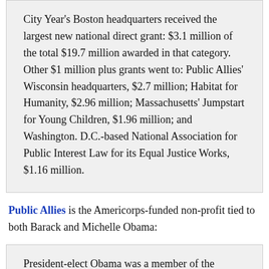City Year's Boston headquarters received the largest new national direct grant: $3.1 million of the total $19.7 million awarded in that category. Other $1 million plus grants went to: Public Allies' Wisconsin headquarters, $2.7 million; Habitat for Humanity, $2.96 million; Massachusetts' Jumpstart for Young Children, $1.96 million; and Washington. D.C.-based National Association for Public Interest Law for its Equal Justice Works, $1.16 million.
Public Allies is the Americorps-funded non-profit tied to both Barack and Michelle Obama:
President-elect Obama was a member of the founding advisory board of Public Allies. Michelle was the founding Executive Director of Public Allies Chicago from Spring, 1993 until Fall, 1996, and